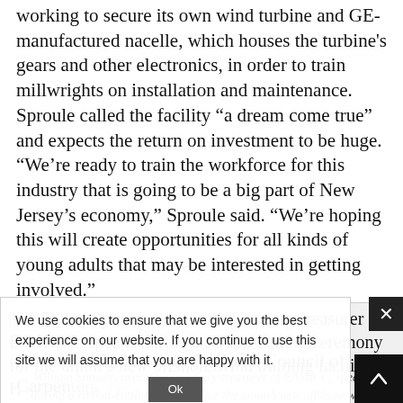working to secure its own wind turbine and GE-manufactured nacelle, which houses the turbine's gears and other electronics, in order to train millwrights on installation and maintenance. Sproule called the facility “a dream come true” and expects the return on investment to be huge. “We’re ready to train the workforce for this industry that is going to be a big part of New Jersey’s economy,” Sproule said. “We’re hoping this will create opportunities for all kinds of young adults that may be interested in getting involved.”
[Figure (photo): William Sproule, executive secretary-treasurer of EASRCC, speaks during a ribbon-cutting ceremony for the union's new offshore wind training facility in Hammonton, New Jersey.]
William Sproule, executive secretary-treasurer of EASRCC, speaks during a ribbon-cutting ceremony for the union’s new offshore wind training facility in Hammonton, New Jersey.
Eastern Atlantic States Regional Council of Carpenters...